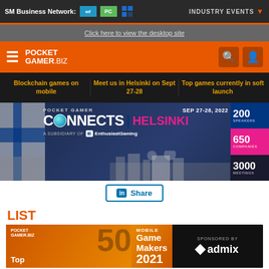SM Business Network: [logos] INDUSTRY EVENTS
Click here to view the desktop site
[Figure (logo): PocketGamer.biz logo with hamburger menu, search and user icons on orange background]
Blockchain games on mobile | Meet us in Helsinki on Sept 27-28 | Top games currently in soft launch
[Figure (infographic): Pocket Gamer Connects Helsinki SEP 27-28, 2022 banner. A Subsidiary of Enthusiast Gaming. 200 Speakers, 650 Companies, 3000 Meetings.]
Share
LIST
[Figure (infographic): PocketGamer.biz Top 50 Mobile Game Makers 2021 banner. Sponsored by admix.]
The movers, the shakers, and all those funky